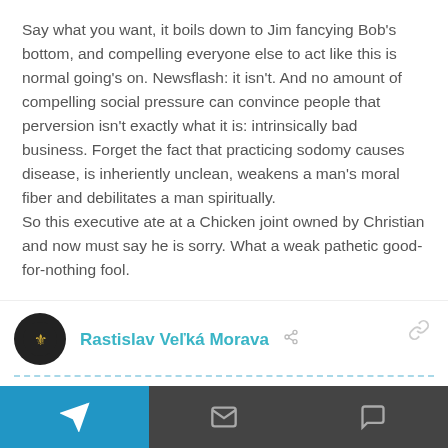Say what you want, it boils down to Jim fancying Bob's bottom, and compelling everyone else to act like this is normal going's on. Newsflash: it isn't. And no amount of compelling social pressure can convince people that perversion isn't exactly what it is: intrinsically bad business. Forget the fact that practicing sodomy causes disease, is inheriently unclean, weakens a man's moral fiber and debilitates a man spiritually.
So this executive ate at a Chicken joint owned by Christian and now must say he is sorry. What a weak pathetic good-for-nothing fool.
^ 0 v  Reply
Rastislav Veľká Morava
September 5, 2018
Christianity is ... like the ... Pride Month in Spell...